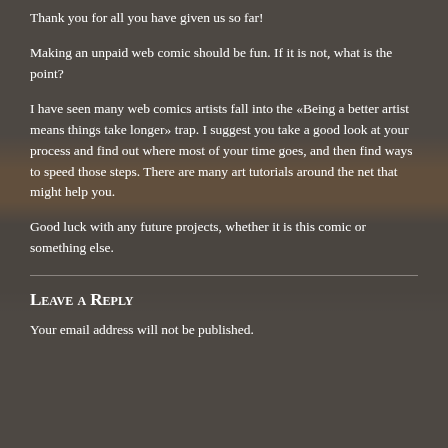Thank you for all you have given us so far!
Making an unpaid web comic should be fun. If it is not, what is the point?
I have seen many web comics artists fall into the «Being a better artist means things take longer» trap. I suggest you take a good look at your process and find out where most of your time goes, and then find ways to speed those steps. There are many art tutorials around the net that might help you.
Good luck with any future projects, whether it is this comic or something else.
Leave a Reply
Your email address will not be published.